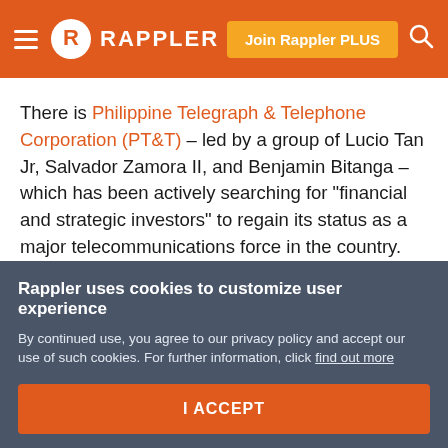Rappler — Join Rappler PLUS
There is Philippine Telegraph & Telephone Corporation (PT&T) – led by a group of Lucio Tan Jr, Salvador Zamora II, and Benjamin Bitanga – which has been actively searching for "financial and strategic investors" to regain its status as a major telecommunications force in the country.
State-run National Transmission Corporation (TransCo) had also expressed intention to utilize its assets as the backbone for a 3rd telco operation.
Rappler uses cookies to customize user experience
By continued use, you agree to our privacy policy and accept our use of such cookies. For further information, click find out more
I ACCEPT